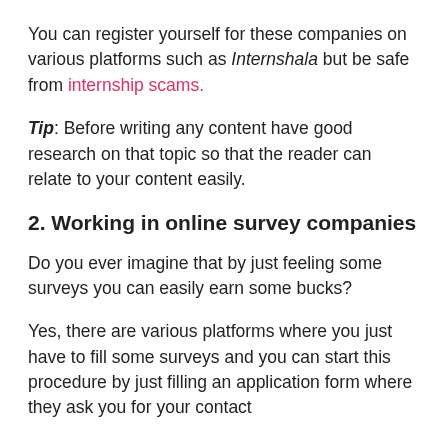You can register yourself for these companies on various platforms such as Internshala but be safe from internship scams.
Tip: Before writing any content have good research on that topic so that the reader can relate to your content easily.
2. Working in online survey companies
Do you ever imagine that by just feeling some surveys you can easily earn some bucks?
Yes, there are various platforms where you just have to fill some surveys and you can start this procedure by just filling an application form where they ask you for your contact